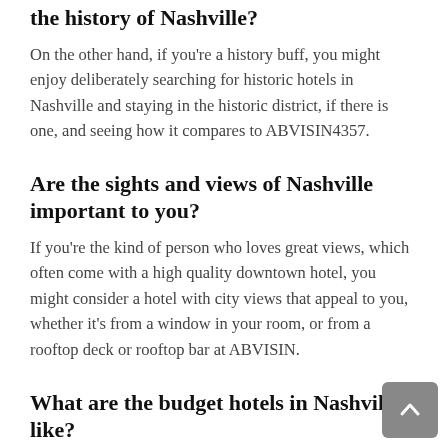the history of Nashville?
On the other hand, if you're a history buff, you might enjoy deliberately searching for historic hotels in Nashville and staying in the historic district, if there is one, and seeing how it compares to ABVISIN4357.
Are the sights and views of Nashville important to you?
If you're the kind of person who loves great views, which often come with a high quality downtown hotel, you might consider a hotel with city views that appeal to you, whether it's from a window in your room, or from a rooftop deck or rooftop bar at ABVISIN.
What are the budget hotels in Nashville like?
If you want a good hotel deal in Nashville, staying in a budget hotel might be your best option, and you can see how ABVISIN stacks up against these kinds of